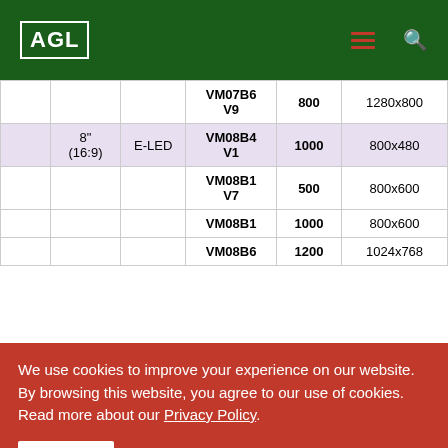AGL
|  | Size | Type | Model | Nits | Resolution |
| --- | --- | --- | --- | --- | --- |
|  |  |  | VM07B6 V9 | 800 | 1280x800 |
|  | 8" (16:9) | E-LED | VM08B4 V1 | 1000 | 800x480 |
|  |  |  | VM08B1 V7 | 500 | 800x600 |
|  |  |  | VM08B1 | 1000 | 800x600 |
|  |  |  | VM08B6 | 1200 | 1024x768 |
We use cookies to improve your experience on our website. By browsing this website, you agree to our use of cookies. Read more about our Privacy Policy.